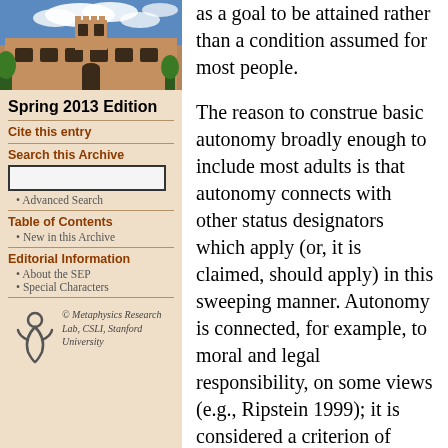[Figure (photo): Photo of a historic stone university building (likely University of Sydney) with blue sky and clouds]
Spring 2013 Edition
Cite this entry
Search this Archive
Advanced Search
Table of Contents
New in this Archive
Editorial Information
About the SEP
Special Characters
© Metaphysics Research Lab, CSLI, Stanford University
as a goal to be attained rather than a condition assumed for most people.
The reason to construe basic autonomy broadly enough to include most adults is that autonomy connects with other status designators which apply (or, it is claimed, should apply) in this sweeping manner. Autonomy is connected, for example, to moral and legal responsibility, on some views (e.g., Ripstein 1999); it is considered a criterion of political status, in that autonomous agency is seen as necessary (and for some sufficient) for the condition of